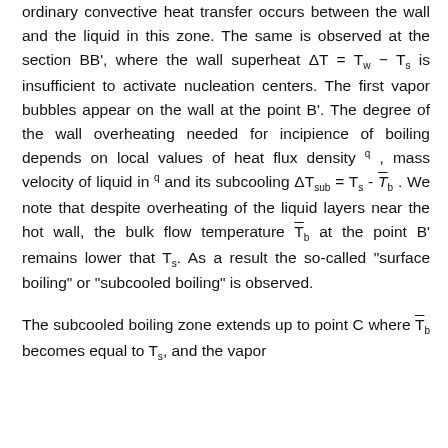ordinary convective heat transfer occurs between the wall and the liquid in this zone. The same is observed at the section BB', where the wall superheat ΔT = T_w − T_s is insufficient to activate nucleation centers. The first vapor bubbles appear on the wall at the point B'. The degree of the wall overheating needed for incipience of boiling depends on local values of heat flux density q, mass velocity of liquid in q and its subcooling ΔT_sub = T_s - T_b . We note that despite overheating of the liquid layers near the hot wall, the bulk flow temperature T_b at the point B' remains lower that T_s. As a result the so-called "surface boiling" or "subcooled boiling" is observed.
The subcooled boiling zone extends up to point C where T_b becomes equal to T_s, and the vapor